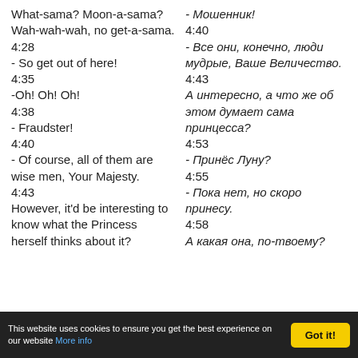What-sama? Moon-a-sama? Wah-wah-wah, no get-a-sama.
4:28
- So get out of here!
4:35
-Oh! Oh! Oh!
4:38
- Fraudster!
4:40
- Of course, all of them are wise men, Your Majesty.
4:43
However, it'd be interesting to know what the Princess herself thinks about it?
- Мошенник!
4:40
- Все они, конечно, люди мудрые, Ваше Величество.
4:43
А интересно, а что же об этом думает сама принцесса?
4:53
- Принёс Луну?
4:55
- Пока нет, но скоро принесу.
4:58
А какая она, по-твоему?
This website uses cookies to ensure you get the best experience on our website More info
Got it!